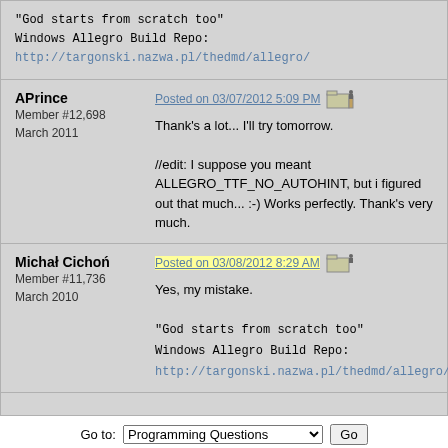"God starts from scratch too"
Windows Allegro Build Repo:
http://targonski.nazwa.pl/thedmd/allegro/
APrince
Member #12,698
March 2011
Posted on 03/07/2012 5:09 PM
Thank's a lot... I'll try tomorrow.

//edit: I suppose you meant ALLEGRO_TTF_NO_AUTOHINT, but i figured out that much... :-) Works perfectly. Thank's very much.
Michał Cichoń
Member #11,736
March 2010
Posted on 03/08/2012 8:29 AM
Yes, my mistake.

"God starts from scratch too"
Windows Allegro Build Repo:
http://targonski.nazwa.pl/thedmd/allegro/
Go to: Programming Questions Go
Site Index | Search | News | Forums | Wiki | Online Users | View Source
Copyright ©1999-2022, by Matthew Leverton